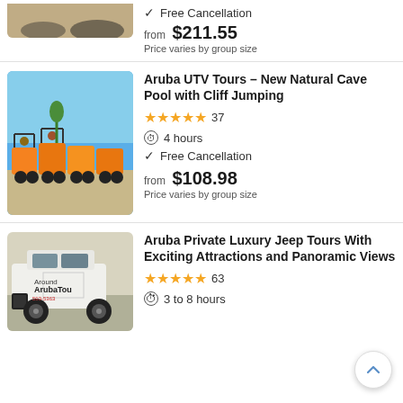✓ Free Cancellation
from $211.55
Price varies by group size
Aruba UTV Tours – New Natural Cave Pool with Cliff Jumping
★★★★★ 37
4 hours
✓ Free Cancellation
from $108.98
Price varies by group size
Aruba Private Luxury Jeep Tours With Exciting Attractions and Panoramic Views
★★★★★ 63
3 to 8 hours